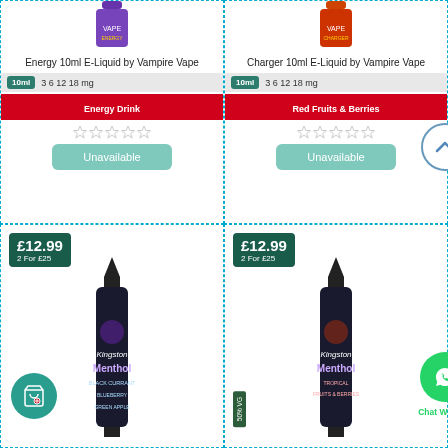[Figure (photo): Energy 10ml E-Liquid by Vampire Vape product bottle image]
Energy 10ml E-Liquid by Vampire Vape
10ml  3 6 12 18 mg
Energy Drink
[Figure (other): 5 empty star rating]
Unavailable
[Figure (photo): Charger 10ml E-Liquid by Vampire Vape product bottle image]
Charger 10ml E-Liquid by Vampire Vape
10ml  3 6 12 18 mg
Red Fruits & Berries
[Figure (other): 5 empty star rating]
Unavailable
£12.99
2 For £25
[Figure (photo): Kingston Menthol Black Currant e-liquid bottle 100ml]
£12.99
2 For £25
[Figure (photo): Kingston Menthol Tropical Fruits & Berries e-liquid bottle 100ml]
50% VG
Chat With Us